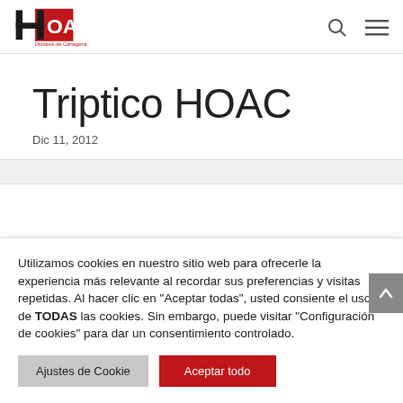HOAC Diócesis de Cartagena
Triptico HOAC
Dic 11, 2012
Utilizamos cookies en nuestro sitio web para ofrecerle la experiencia más relevante al recordar sus preferencias y visitas repetidas. Al hacer clic en "Aceptar todas", usted consiente el uso de TODAS las cookies. Sin embargo, puede visitar "Configuración de cookies" para dar un consentimiento controlado.
Ajustes de Cookie | Aceptar todo